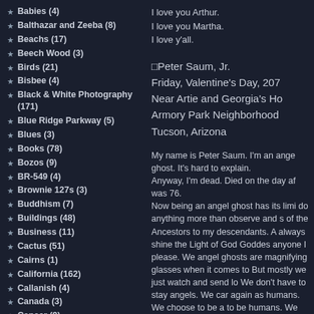Babies (4)
Balthazar and Zeeba (8)
Beachs (17)
Beech Wood (3)
Birds (21)
Bisbee (4)
Black & White Photography (171)
Blue Ridge Parkway (5)
Blues (3)
Books (78)
Bozos (9)
BR-549 (4)
Brownie 127s (3)
Buddhism (7)
Buildings (48)
Business (11)
Cactus (51)
Cairns (1)
California (162)
Callanish (4)
Canada (3)
Cancer (9)
Canyons (56)
I love you Arthur.
I love you Martha.
I love y'all.
□Peter Saum, Jr.
Friday, Valentine's Day, 207
Near Artie and Georgia's Ho
Armory Park Neighborhood
Tucson, Arizona
My name is Peter Saum. I'm an ange ghost. It's hard to explain.
Anyway, I'm dead. Died on the day af was 76.
Now being an angel ghost has its limi do anything more than observe and s of the Ancestors to my descendants. A always shine the Light of God Goddes anyone I please. We angel ghosts are magnifying glasses when it comes to But mostly we just watch and send lo We don't have to stay angels. We car again as humans. We choose to be a to be humans. We mostly stay angels and friends. They taught us in Angel S and Light we shine on people has a v though it's hard for us to see at times